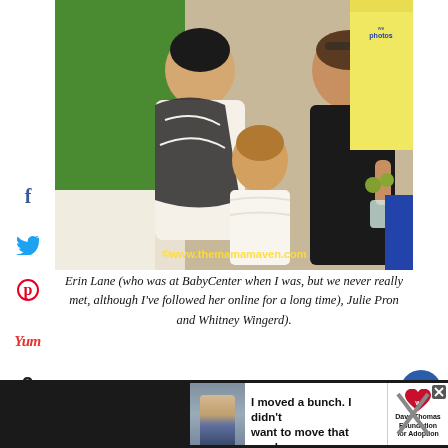[Figure (photo): Three women posing together at what appears to be a conference or event. There is a green screen backdrop on the left and vendor booths visible on the right. A watermark reads ©www.themamamaven.com at the bottom of the photo.]
Erin Lane (who was at BabyCenter when I was, but we never really met, although I've followed her online for a long time), Julie Pron and Whitney Wingerd).
[Figure (infographic): Advertisement banner: photo of a young man in a tie, large quotation marks, text 'I moved a bunch. I didn't want to move that much.' with Dave Thomas Foundation for Adoption logo.]